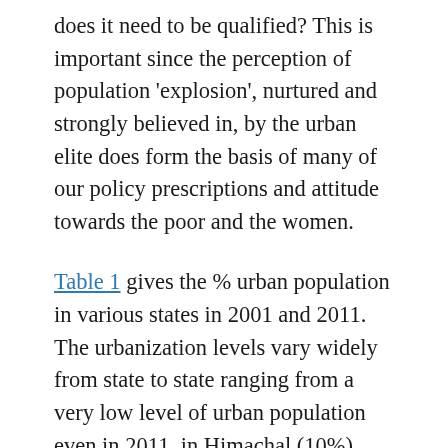does it need to be qualified? This is important since the perception of population 'explosion', nurtured and strongly believed in, by the urban elite does form the basis of many of our policy prescriptions and attitude towards the poor and the women.
Table 1 gives the % urban population in various states in 2001 and 2011. The urbanization levels vary widely from state to state ranging from a very low level of urban population even in 2011, in Himachal (10%), Bihar (11.3%) and Assam (14.1%). If we see the map for 2001, however, we see a contiguous belt of northern and eastern states with less than 27% urban population. Even in 2011 the pattern remains